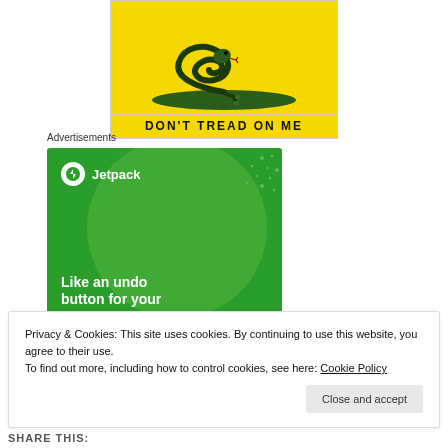[Figure (illustration): Gadsden flag image showing a coiled rattlesnake on yellow background with 'DON'T TREAD ON ME' text]
Advertisements
[Figure (screenshot): Jetpack advertisement banner with green background showing logo and text 'Like an undo button for your WordPress site']
Privacy & Cookies: This site uses cookies. By continuing to use this website, you agree to their use.
To find out more, including how to control cookies, see here: Cookie Policy
Close and accept